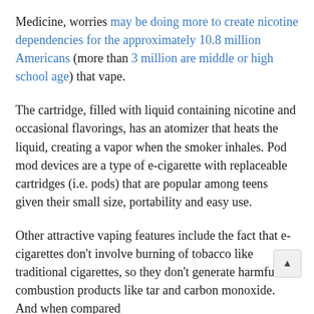Medicine, worries may be doing more to create nicotine dependencies for the approximately 10.8 million Americans (more than 3 million are middle or high school age) that vape.
The cartridge, filled with liquid containing nicotine and occasional flavorings, has an atomizer that heats the liquid, creating a vapor when the smoker inhales. Pod mod devices are a type of e-cigarette with replaceable cartridges (i.e. pods) that are popular among teens given their small size, portability and easy use.
Other attractive vaping features include the fact that e-cigarettes don't involve burning of tobacco like traditional cigarettes, so they don't generate harmful combustion products like tar and carbon monoxide. And when compared